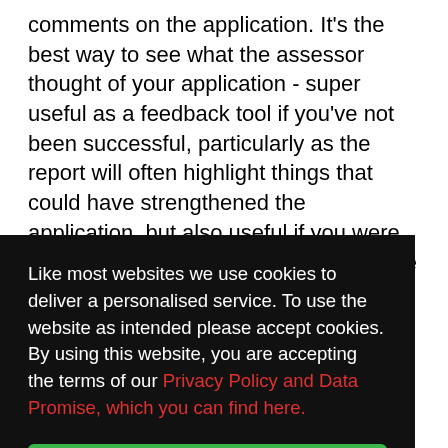comments on the application. It's the best way to see what the assessor thought of your application - super useful as a feedback tool if you've not been successful, particularly as the report will often highlight things that could have strengthened the application, but also useful if you were successful so that you can see what the assessor thought the
[Figure (screenshot): Cookie consent overlay with dark background displaying message: 'Like most websites we use cookies to deliver a personalised service. To use the website as intended please accept cookies. By using this website, you are accepting the terms of our Privacy Policy and Data Promise, which you can find here.' with a green 'Accept Cookies' button.]
Claire